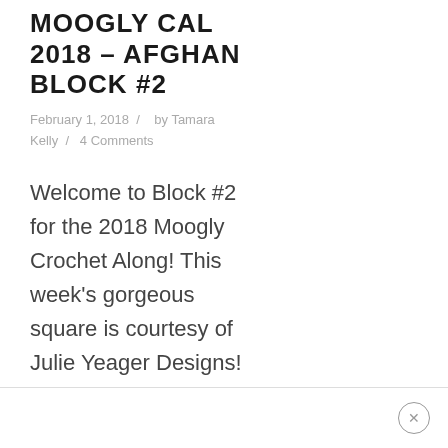MOOGLY CAL 2018 – AFGHAN BLOCK #2
February 1, 2018  /   by Tamara Kelly  /   4 Comments
Welcome to Block #2 for the 2018 Moogly Crochet Along! This week's gorgeous square is courtesy of Julie Yeager Designs!